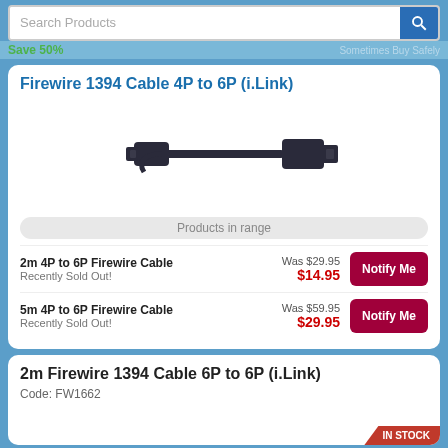Search Products
Save 50%
Firewire 1394 Cable 4P to 6P (i.Link)
[Figure (photo): Firewire 1394 cable with 4-pin connector on one end and 6-pin connector on the other end]
Products in range
2m 4P to 6P Firewire Cable
Recently Sold Out!
Was $29.95
$14.95
5m 4P to 6P Firewire Cable
Recently Sold Out!
Was $59.95
$29.95
2m Firewire 1394 Cable 6P to 6P (i.Link)
Code: FW1662
IN STOCK